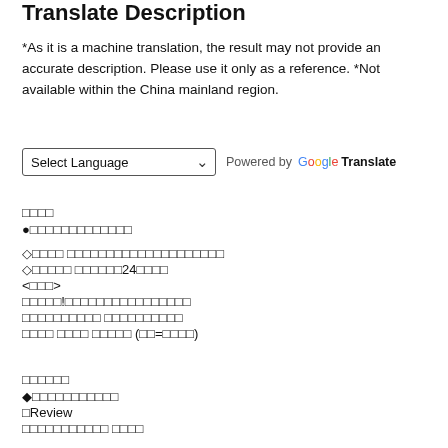Translate Description
*As it is a machine translation, the result may not provide an accurate description. Please use it only as a reference. *Not available within the China mainland region.
[Figure (other): Select Language dropdown and Powered by Google Translate label]
□□□□
●□□□□□□□□□□□□□

◇□□□□ □□□□□□□□□□□□□□□□□□□□
◇□□□□□ □□□□□□24□□□□
<□□□>
□□□□□!□□□□□□□□□□□□□□□□
□□□□□□□□□□ □□□□□□□□□□
□□□□ □□□□ □□□□□ (□□=□□□□)
□□□□□□
◆□□□□□□□□□□□
□Review
□□□□□□□□□□□ □□□□